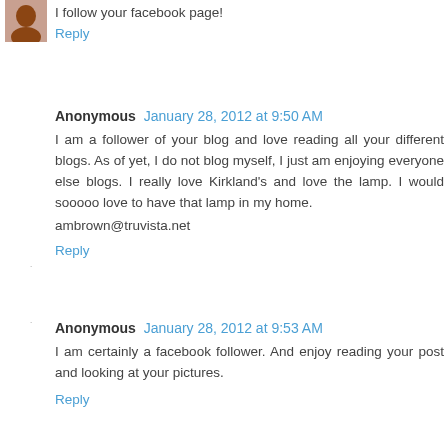I follow your facebook page!
Reply
Anonymous  January 28, 2012 at 9:50 AM
I am a follower of your blog and love reading all your different blogs. As of yet, I do not blog myself, I just am enjoying everyone else blogs. I really love Kirkland's and love the lamp. I would sooooo love to have that lamp in my home.
ambrown@truvista.net
Reply
Anonymous  January 28, 2012 at 9:53 AM
I am certainly a facebook follower. And enjoy reading your post and looking at your pictures.
Reply